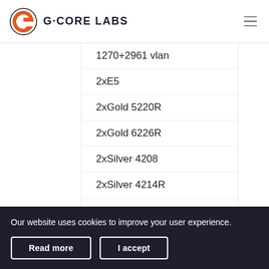G-CORE LABS
1270+2961 vlan
2xE5
2xGold 5220R
2xGold 6226R
2xSilver 4208
2xSilver 4214R
2xSilver 4314
E 2234
E 2388G
Our website uses cookies to improve your user experience.
Read more
I accept